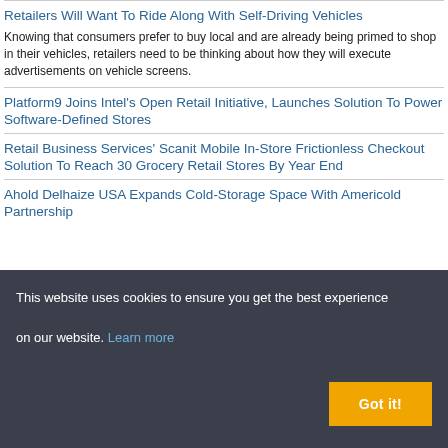Retailers Will Want To Ride Along With Self-Driving Vehicles
Knowing that consumers prefer to buy local and are already being primed to shop in their vehicles, retailers need to be thinking about how they will execute advertisements on vehicle screens.
Platform9 Joins Intel's Open Retail Initiative, Launches Solution To Power Software-Defined Stores
Retail Business Services' Scanit Mobile In-Store Frictionless Checkout Solution To Reach 30 Grocery Retail Stores By Year End
Ahold Delhaize USA Expands Cold-Storage Space With Americold Partnership
This website uses cookies to ensure you get the best experience on our website. Learn more